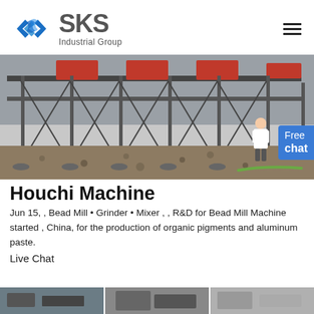SKS Industrial Group
[Figure (photo): Aerial view of an industrial mining or crushing plant site with large machinery structures, conveyor belts, and gravel ground. A female assistant figure is visible on the right side with a blue 'Free chat' button overlay.]
Houchi Machine
Jun 15, , Bead Mill • Grinder • Mixer , , R&D for Bead Mill Machine started , China, for the production of organic pigments and aluminum paste.
Live Chat
[Figure (photo): Bottom strip showing partial images of industrial machinery.]